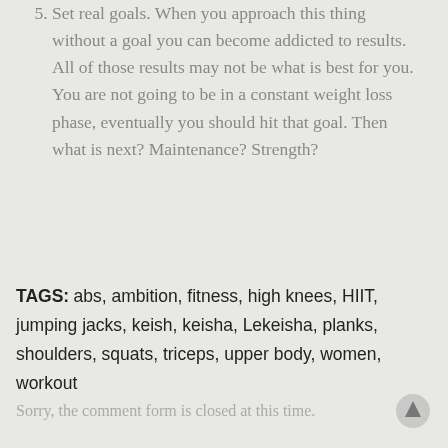5. Set real goals. When you approach this thing without a goal you can become addicted to results. All of those results may not be what is best for you. You are not going to be in a constant weight loss phase, eventually you should hit that goal. Then what is next? Maintenance? Strength?
TAGS: abs, ambition, fitness, high knees, HIIT, jumping jacks, keish, keisha, Lekeisha, planks, shoulders, squats, triceps, upper body, women, workout
Sorry, the comment form is closed at this time.